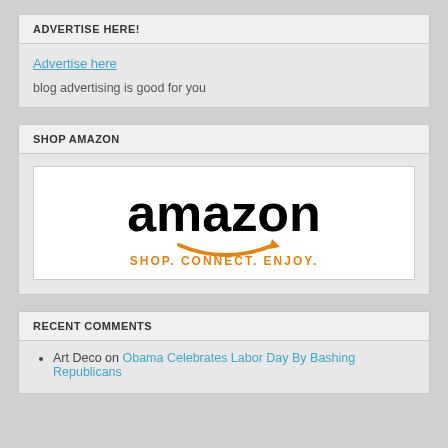ADVERTISE HERE!
Advertise here
blog advertising is good for you
SHOP AMAZON
[Figure (logo): Amazon logo with text 'amazon' in black bold and a smile arrow underneath, and tagline 'SHOP. CONNECT. ENJOY.' in orange bold text]
RECENT COMMENTS
Art Deco on Obama Celebrates Labor Day By Bashing Republicans